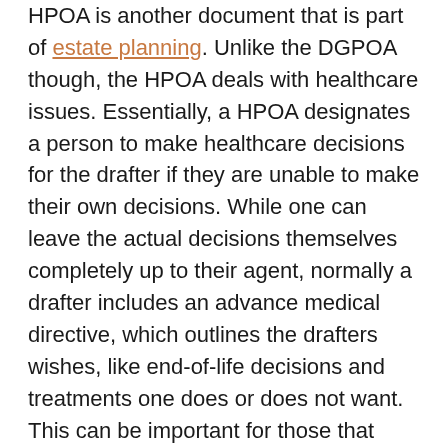HPOA is another document that is part of estate planning. Unlike the DGPOA though, the HPOA deals with healthcare issues. Essentially, a HPOA designates a person to make healthcare decisions for the drafter if they are unable to make their own decisions. While one can leave the actual decisions themselves completely up to their agent, normally a drafter includes an advance medical directive, which outlines the drafters wishes, like end-of-life decisions and treatments one does or does not want. This can be important for those that have religious